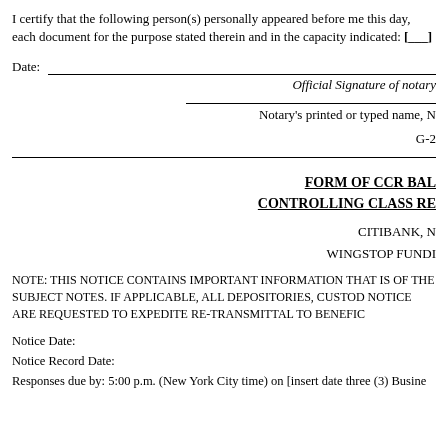I certify that the following person(s) personally appeared before me this day, each acknowledging to me that he or she voluntarily signed the foregoing document for the purpose stated therein and in the capacity indicated: [___]
Date:
Official Signature of notary
Notary's printed or typed name, N
G-2
FORM OF CCR BAL CONTROLLING CLASS RE
CITIBANK, N
WINGSTOP FUNDI
NOTE: THIS NOTICE CONTAINS IMPORTANT INFORMATION THAT IS OF THE SUBJECT NOTES. IF APPLICABLE, ALL DEPOSITORIES, CUSTOD NOTICE ARE REQUESTED TO EXPEDITE RE-TRANSMITTAL TO BENEFIC
Notice Date:
Notice Record Date:
Responses due by: 5:00 p.m. (New York City time) on [insert date three (3) Busine